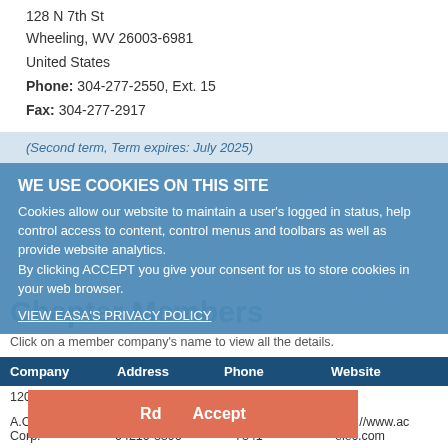128 N 7th St
Wheeling, WV 26003-6981
United States
Phone: 304-277-2550, Ext. 15
Fax: 304-277-2917
(Second term, Term expires: July 2025)
WE USE COOKIES ON THIS SITE
Cookies allow our website to maintain a user's logged in status, help control access to content, control menus and toolbars as well as provide website analytics. By clicking ACCEPT you give your consent for us to store cookies in your web browser.
VIEW EASA'S PRIVACY POLICY
Chapter Members
Click on a member company's name to view all the details.
| Company | Address | Phone | Website |
| --- | --- | --- | --- |
|  | 120 Merrow Rd |  |  |
| A.C. Electric Corp. | Auburn, ME 04210-8896 | 207-784-7341 | http://www.acelec.com |
Accept